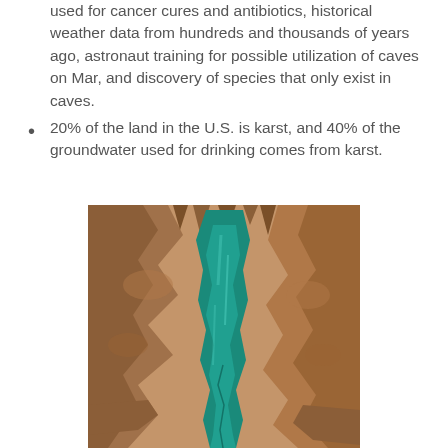used for cancer cures and antibiotics, historical weather data from hundreds and thousands of years ago, astronaut training for possible utilization of caves on Mar, and discovery of species that only exist in caves.
20% of the land in the U.S. is karst, and 40% of the groundwater used for drinking comes from karst.
[Figure (photo): A cave interior showing a narrow turquoise/teal blue underground pool or river running through rocky limestone formations. The cave walls are brown and orange rock with stalactites visible at the top. The vibrant blue-green water fills a crack in the cave floor.]